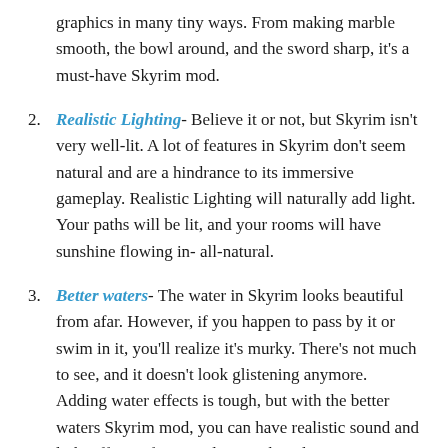graphics in many tiny ways. From making marble smooth, the bowl around, and the sword sharp, it's a must-have Skyrim mod.
2. Realistic Lighting- Believe it or not, but Skyrim isn't very well-lit. A lot of features in Skyrim don't seem natural and are a hindrance to its immersive gameplay. Realistic Lighting will naturally add light. Your paths will be lit, and your rooms will have sunshine flowing in- all-natural.
3. Better waters- The water in Skyrim looks beautiful from afar. However, if you happen to pass by it or swim in it, you'll realize it's murky. There's not much to see, and it doesn't look glistening anymore. Adding water effects is tough, but with the better waters Skyrim mod, you can have realistic sound and light effects of water, along with realistic texture.